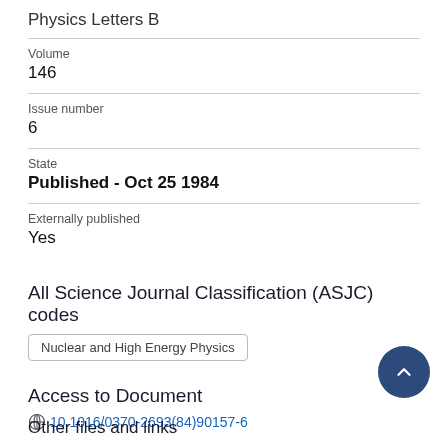Physics Letters B
Volume
146
Issue number
6
State
Published - Oct 25 1984
Externally published
Yes
All Science Journal Classification (ASJC) codes
Nuclear and High Energy Physics
Access to Document
10.1016/0370-2693(84)90157-6
Other files and links